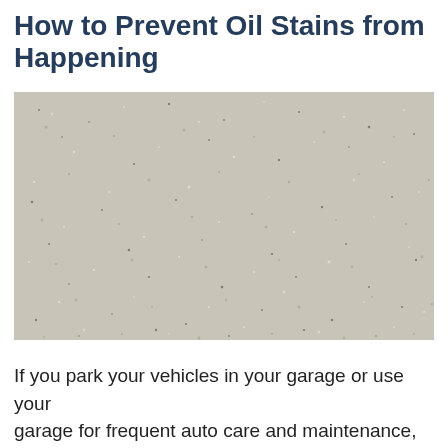How to Prevent Oil Stains from Happening
[Figure (photo): Close-up photograph of a concrete or stone surface with a speckled gray texture, showing small dark and light spots scattered across the surface, resembling a garage floor or paving material.]
If you park your vehicles in your garage or use your garage for frequent auto care and maintenance, you